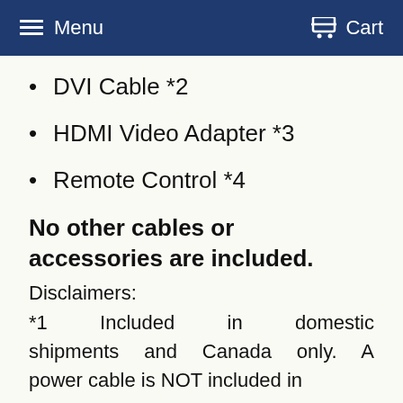Menu  Cart
DVI Cable *2
HDMI Video Adapter *3
Remote Control *4
No other cables or accessories are included.
Disclaimers:
*1   Included in domestic shipments and Canada only. A power cable is NOT included in